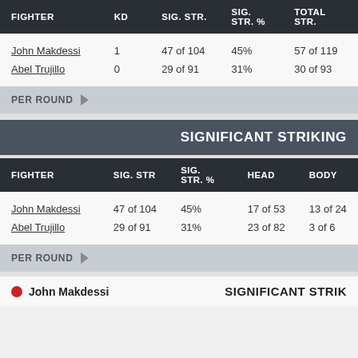| FIGHTER | KD | SIG. STR. | SIG. STR. % | TOTAL STR. |
| --- | --- | --- | --- | --- |
| John Makdessi | 1 | 47 of 104 | 45% | 57 of 119 |
| Abel Trujillo | 0 | 29 of 91 | 31% | 30 of 93 |
PER ROUND ▶
SIGNIFICANT STRIKING
| FIGHTER | SIG. STR | SIG. STR. % | HEAD | BODY |
| --- | --- | --- | --- | --- |
| John Makdessi | 47 of 104 | 45% | 17 of 53 | 13 of 24 |
| Abel Trujillo | 29 of 91 | 31% | 23 of 82 | 3 of 6 |
PER ROUND ▶
● John Makdessi     SIGNIFICANT STRIKING